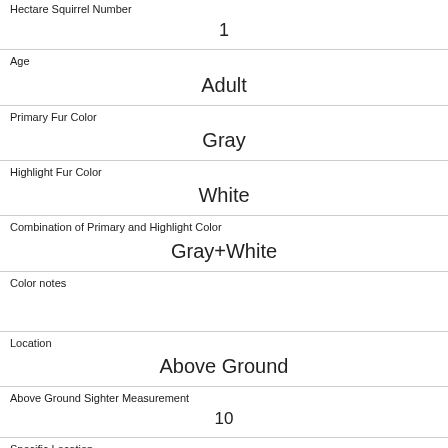| Hectare Squirrel Number | 1 |
| Age | Adult |
| Primary Fur Color | Gray |
| Highlight Fur Color | White |
| Combination of Primary and Highlight Color | Gray+White |
| Color notes |  |
| Location | Above Ground |
| Above Ground Sighter Measurement | 10 |
| Specific Location | in tree |
| Running | 0 |
| Chasing |  |